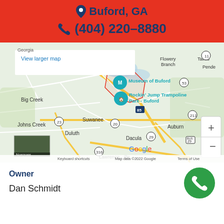Buford, GA
(404) 220-8880
[Figure (map): Google Maps screenshot showing Buford, GA area with landmarks including Museum of Buford and Rockin' Jump Trampoline Park - Buford, surrounding areas include Big Creek, Suwanee, Johns Creek, Duluth, Norcross, Auburn, Dacula, Lawrenceville, Flowery Branch, Talmo. Map data ©2022 Google.]
Owner
Dan Schmidt